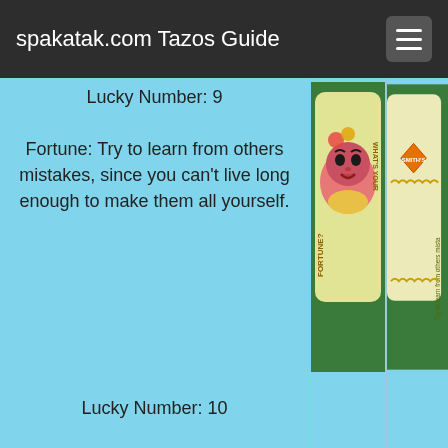spakatak.com Tazos Guide
Lucky Number: 9

Fortune: Try to learn from others mistakes, since you can't live long enough to make them all yourself.
[Figure (photo): A Tazo card showing a stylized face with text 'What's Your Fortune?' on a green background]
[Figure (photo): Partial view of another Tazo card with Smith's branding and text 'Try to learn from others mista...' on a green background]
Lucky Number: 10